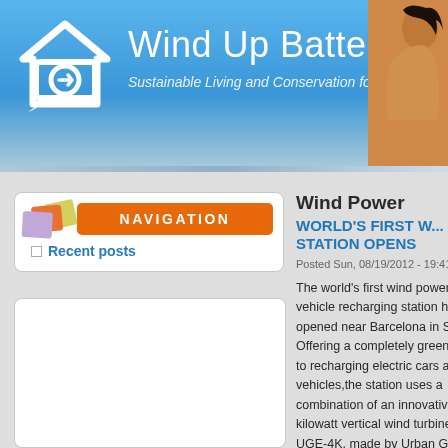Wind Up Battery — Sustainable Living and Conservation for a P...
NAVIGATION
Recent posts
Wind Power
WORLD'S FIRST W... STATION OPENS
Posted Sun, 08/19/2012 - 19:41 by ...
The world's first wind powere... vehicle recharging station ha... opened near Barcelona in Sp... Offering a completely green s... to recharging electric cars an... vehicles,the station uses a combination of an innovative kilowatt vertical wind turbine, UGE-4K, made by Urban Gre... Energy and a charging unit k... Durastation from General Ele... These are integrated as a sin... with all of the electrical syste...